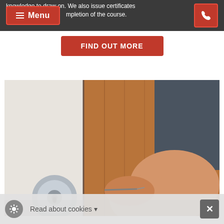≡ Menu | [phone icon]
knowledge to draw on. We also issue certificates … mpletion of the course.
FIND OUT MORE
[Figure (photo): A person using a pick tool to unlock a door knob/lock on a wooden door. The person's hand and midsection are visible, close-up shot.]
Read about cookies ▾  ×